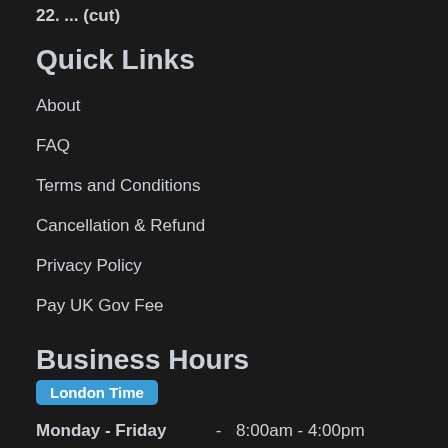22: ... (cut off)
Quick Links
About
FAQ
Terms and Conditions
Cancellation & Refund
Privacy Policy
Pay UK Gov Fee
Business Hours
London Time
Monday - Friday  -  8:00am - 4:00pm
Saturday  -  8:00am - 2:00pm
Sunday  -  Closed